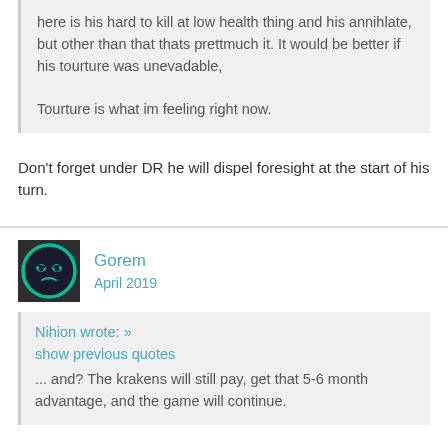here is his hard to kill at low health thing and his annihlate, but other than that thats prettmuch it. It would be better if his tourture was unevadable,

Tourture is what im feeling right now.
Don't forget under DR he will dispel foresight at the start of his turn.
Gorem
April 2019
Nihion wrote: »
show previous quotes
... and? The krakens will still pay, get that 5-6 month advantage, and the game will continue.
Actually, the krakens don't pay anymore. Its one of the